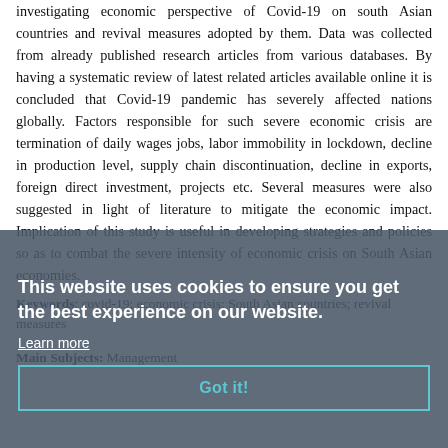investigating economic perspective of Covid-19 on south Asian countries and revival measures adopted by them. Data was collected from already published research articles from various databases. By having a systematic review of latest related articles available online it is concluded that Covid-19 pandemic has severely affected nations globally. Factors responsible for such severe economic crisis are termination of daily wages jobs, labor immobility in lockdown, decline in production level, supply chain discontinuation, decline in exports, foreign direct investment, projects etc. Several measures were also suggested in light of literature to mitigate the economic impact. Implication of this study is useful in developing strategies and policies so as to combat the severe intensity of economic crisis on South Asian economies.
Keywords: covid-19; economic crisis; South Asian countries; revival measures
Main Subjects: Management
This website uses cookies to ensure you get the best experience on our website.
Learn more
Got it!